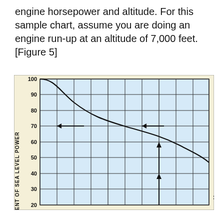engine horsepower and altitude. For this sample chart, assume you are doing an engine run-up at an altitude of 7,000 feet. [Figure 5]
[Figure (continuous-plot): Graph showing percent of sea level power (y-axis, 20-100) vs altitude, with a descending curve from 100% at sea level down to about 50% at high altitude. Horizontal arrow at 70% level with markers, and vertical arrow indicators at approximately 7,000 feet altitude point.]